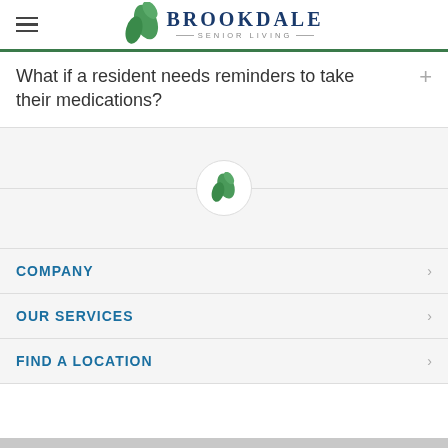Brookdale Senior Living
What if a resident needs reminders to take their medications?
[Figure (logo): Brookdale Senior Living leaf logo icon inside a circular border in the center of a divider line]
COMPANY
OUR SERVICES
FIND A LOCATION